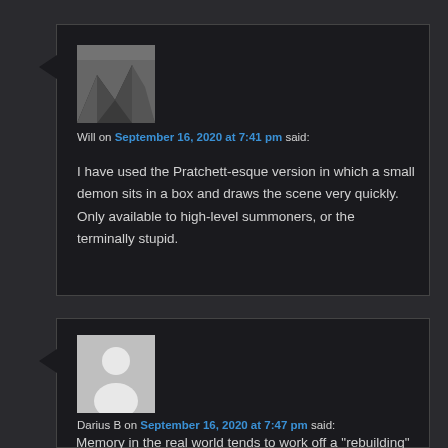[Figure (photo): Black and white mountain landscape avatar photo]
Will on September 16, 2020 at 7:41 pm said:
I have used the Pratchett-esque version in which a small demon sits in a box and draws the scene very quickly. Only available to high-level summoners, or the terminally stupid.
[Figure (illustration): Generic grey silhouette avatar for user with no profile picture]
Darius B on September 16, 2020 at 7:47 pm said:
Memory in the real world tends to work off a “rebuilding” concept (e.g. we don’t remember